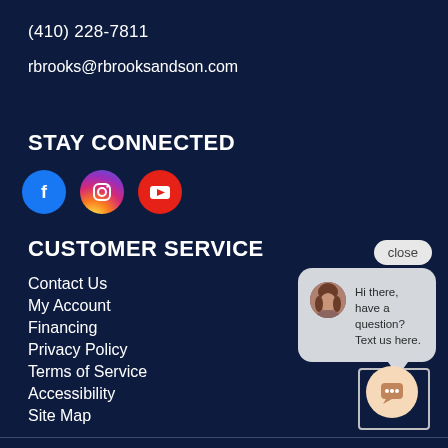(410) 228-7811
rbrooks@rbrooksandson.com
STAY CONNECTED
[Figure (infographic): Three social media icons: Facebook (blue circle with f), Instagram (gradient circle with camera icon), YouTube (red circle with play button)]
CUSTOMER SERVICE
Contact Us
My Account
Financing
Privacy Policy
Terms of Service
Accessibility
Site Map
[Figure (screenshot): Chat popup with close button. Shows avatar of a woman and text: Hi there, have a question? Text us here. A peach/orange chat trigger button at bottom right with chat icon.]